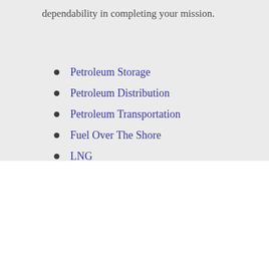dependability in completing your mission.
Petroleum Storage
Petroleum Distribution
Petroleum Transportation
Fuel Over The Shore
LNG